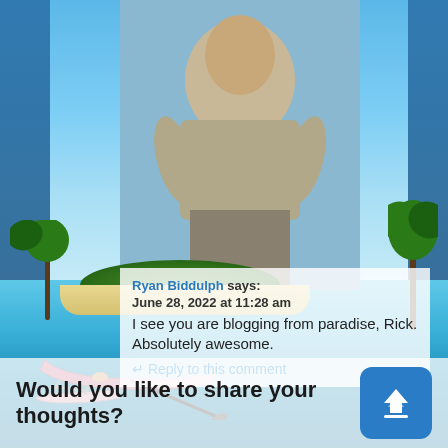[Figure (photo): Tropical paradise background with blue sky, island with palm trees, turquoise water, a small outrigger boat, and a person standing with hands on hips visible in the upper portion.]
Ryan Biddulph says:
June 28, 2022 at 11:28 am
I see you are blogging from paradise, Rick. Absolutely awesome.
Reply to this comment
Would you like to share your thoughts?